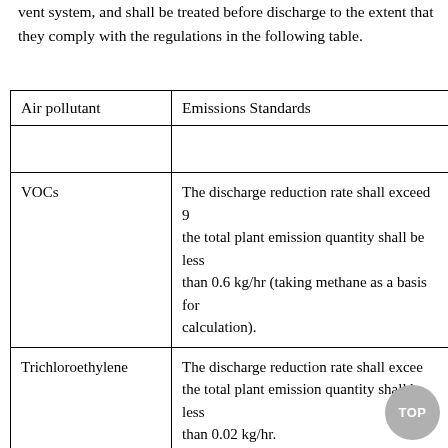vent system, and shall be treated before discharge to the extent that they comply with the regulations in the following table.
| Air pollutant | Emissions Standards |
| --- | --- |
| VOCs | The discharge reduction rate shall exceed 9[0%]; the total plant emission quantity shall be less than 0.6 kg/hr (taking methane as a basis for calculation). |
| Trichloroethylene | The discharge reduction rate shall excee[d...]; the total plant emission quantity shall be less than 0.02 kg/hr. |
| Nitric acid | The pollution emissions reduction rate for... |